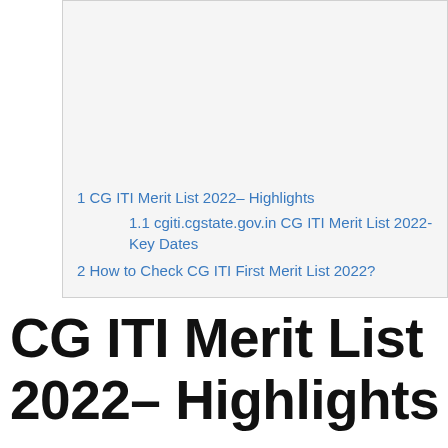1 CG ITI Merit List 2022– Highlights
1.1 cgiti.cgstate.gov.in CG ITI Merit List 2022- Key Dates
2 How to Check CG ITI First Merit List 2022?
CG ITI Merit List 2022– Highlights